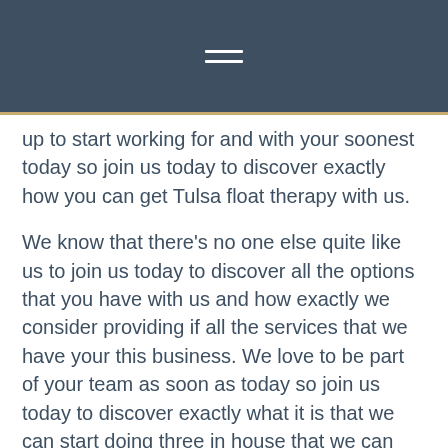☰
up to start working for and with your soonest today so join us today to discover exactly how you can get Tulsa float therapy with us.
We know that there's no one else quite like us to join us today to discover all the options that you have with us and how exactly we consider providing if all the services that we have your this business. We love to be part of your team as soon as today so join us today to discover exactly what it is that we can start doing three in house that we can help you hear this company. We know we have the best of what we do suggest today to discover exactly what it is that we can start doing free and how so we can start getting you into reactive state of